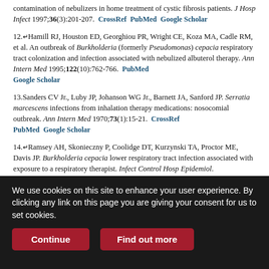contamination of nebulizers in home treatment of cystic fibrosis patients. J Hosp Infect 1997;36(3):201-207. CrossRef PubMed Google Scholar
12. Hamill RJ, Houston ED, Georghiou PR, Wright CE, Koza MA, Cadle RM, et al. An outbreak of Burkholderia (formerly Pseudomonas) cepacia respiratory tract colonization and infection associated with nebulized albuterol therapy. Ann Intern Med 1995;122(10):762-766. PubMed Google Scholar
13. Sanders CV Jr., Luby JP, Johanson WG Jr., Barnett JA, Sanford JP. Serratia marcescens infections from inhalation therapy medications: nosocomial outbreak. Ann Intern Med 1970;73(1):15-21. CrossRef PubMed Google Scholar
14. Ramsey AH, Skonieczny P, Coolidge DT, Kurzynski TA, Proctor ME, Davis JP. Burkholderia cepacia lower respiratory tract infection associated with exposure to a respiratory therapist. Infect Control Hosp Epidemiol.
We use cookies on this site to enhance your user experience. By clicking any link on this page you are giving your consent for us to set cookies.